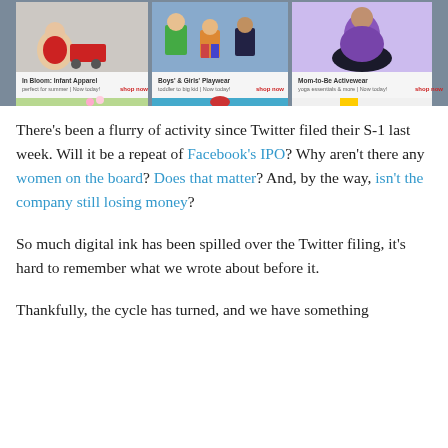[Figure (screenshot): Banner advertisement showing children's and maternity clothing categories: 'In Bloom: Infant Apparel', 'Boys' & Girls' Playwear', and 'Mom-to-Be Activewear' with shop now links. Below shows partial second row of product images.]
There's been a flurry of activity since Twitter filed their S-1 last week. Will it be a repeat of Facebook's IPO? Why aren't there any women on the board? Does that matter? And, by the way, isn't the company still losing money?
So much digital ink has been spilled over the Twitter filing, it's hard to remember what we wrote about before it.
Thankfully, the cycle has turned, and we have something